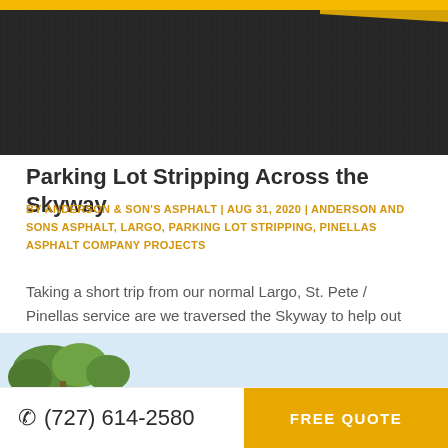[Figure (photo): Aerial or close-up photo of asphalt/pavement with a yellow stripe diagonal line at the top]
Parking Lot Stripping Across the Skyway
BY ANDERSON & SON'S ASPHALT | AUG 31, 2020 | ANDERSON AND SONS ASPHALT, LARGO, PARKING LOT STRIPPING, PINELLAS ASPHALT COMPANY PROJECTS
Taking a short trip from our normal Largo, St. Pete / Pinellas service are we traversed the Skyway to help out with some much needed parking lot line stripping in the Sarasota based commercial property. Proper line stripping not only helps bring out the...
[Figure (photo): Bottom photo showing trees and sky in the background]
(727) 614-2580   FREE QUOTE